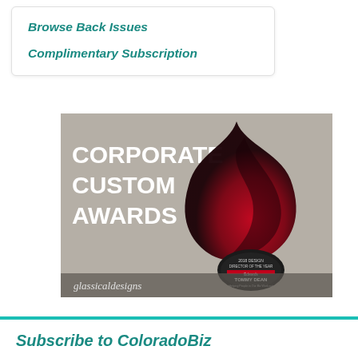Browse Back Issues
Complimentary Subscription
[Figure (illustration): Corporate Custom Awards advertisement for glassicaldesigns featuring bold white text on gray background with a dark flame-shaped glass award trophy with red gradient]
Subscribe to ColoradoBiz